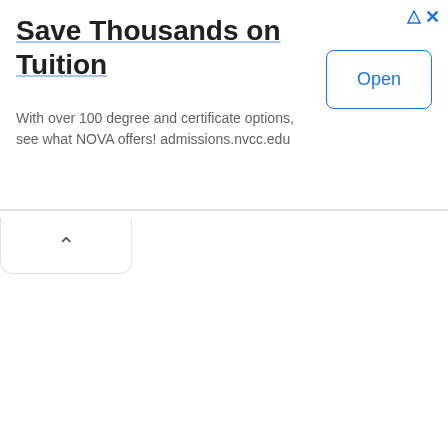Save Thousands on Tuition
With over 100 degree and certificate options, see what NOVA offers! admissions.nvcc.edu
[Figure (screenshot): Open button with blue border and blue text reading 'Open']
[Figure (other): Collapse/chevron tab button with upward-pointing caret icon]